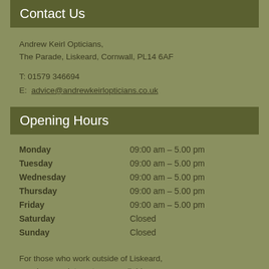Contact Us
Andrew Keirl Opticians,
The Parade, Liskeard, Cornwall, PL14 6AF
T: 01579 346694
E: advice@andrewkeirlopticians.co.uk
Opening Hours
| Day | Hours |
| --- | --- |
| Monday | 09:00 am – 5.00 pm |
| Tuesday | 09:00 am – 5.00 pm |
| Wednesday | 09:00 am – 5.00 pm |
| Thursday | 09:00 am – 5.00 pm |
| Friday | 09:00 am – 5.00 pm |
| Saturday | Closed |
| Sunday | Closed |
For those who work outside of Liskeard, evening appointments are available on